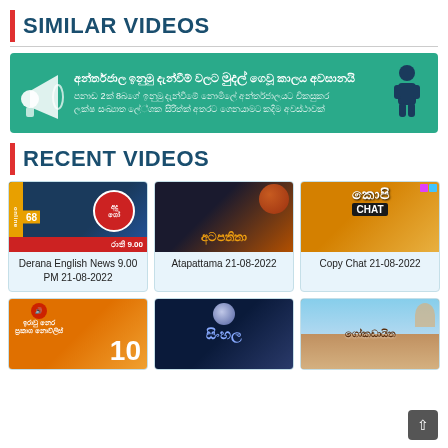SIMILAR VIDEOS
[Figure (infographic): Advertisement banner with teal background, megaphone icon, Sinhala text about internet earnings deadline, and a figure illustration]
RECENT VIDEOS
[Figure (screenshot): Derana English News 9.00 PM 21-08-2022 thumbnail with blue background and news logo]
Derana English News 9.00 PM 21-08-2022
[Figure (screenshot): Atapattama 21-08-2022 thumbnail with space/planet background]
Atapattama 21-08-2022
[Figure (screenshot): Copy Chat 21-08-2022 thumbnail with orange background and chat show logo]
Copy Chat 21-08-2022
[Figure (screenshot): News thumbnail with orange background showing number 10]
[Figure (screenshot): Sinhala show thumbnail with dark blue background]
[Figure (screenshot): Beach/outdoor scene thumbnail]